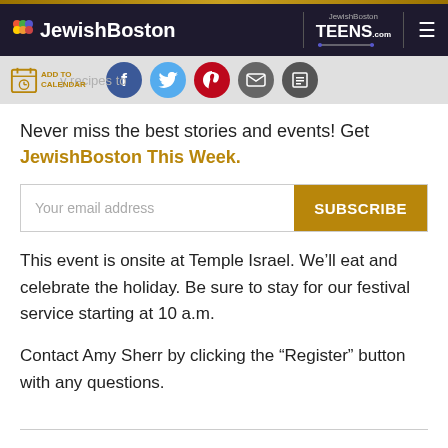JewishBoston
[Figure (screenshot): Social sharing bar with Add to Calendar button, Facebook, Twitter, Pinterest, Email, and Print icons]
Never miss the best stories and events! Get JewishBoston This Week.
Your email address | SUBSCRIBE
This event is onsite at Temple Israel. We'll eat and celebrate the holiday. Be sure to stay for our festival service starting at 10 a.m.
Contact Amy Sherr by clicking the “Register” button with any questions.